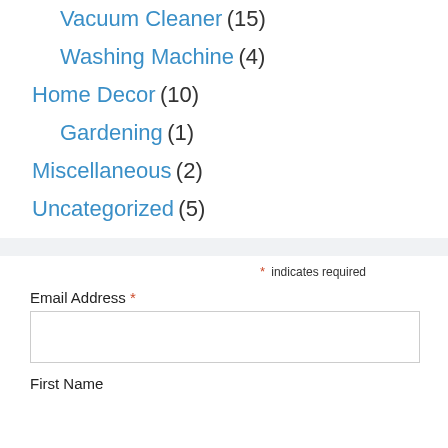Vacuum Cleaner (15)
Washing Machine (4)
Home Decor (10)
Gardening (1)
Miscellaneous (2)
Uncategorized (5)
* indicates required
Email Address *
First Name